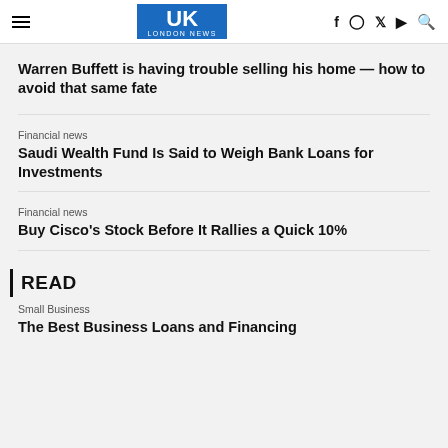UK LONDON NEWS
Warren Buffett is having trouble selling his home — how to avoid that same fate
Financial news
Saudi Wealth Fund Is Said to Weigh Bank Loans for Investments
Financial news
Buy Cisco's Stock Before It Rallies a Quick 10%
READ
Small Business
The Best Business Loans and Financing